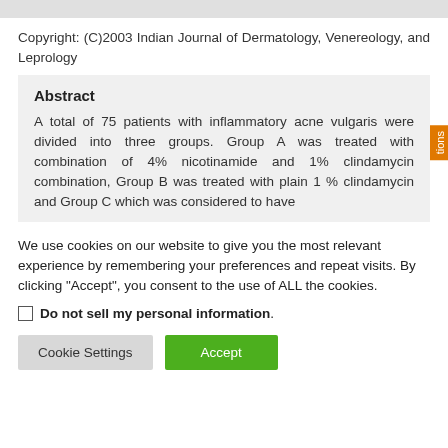Copyright: (C)2003 Indian Journal of Dermatology, Venereology, and Leprology
Abstract
A total of 75 patients with inflammatory acne vulgaris were divided into three groups. Group A was treated with combination of 4% nicotinamide and 1% clindamycin combination, Group B was treated with plain 1 % clindamycin and Group C which was considered to have
We use cookies on our website to give you the most relevant experience by remembering your preferences and repeat visits. By clicking “Accept”, you consent to the use of ALL the cookies.
Do not sell my personal information.
Cookie Settings
Accept